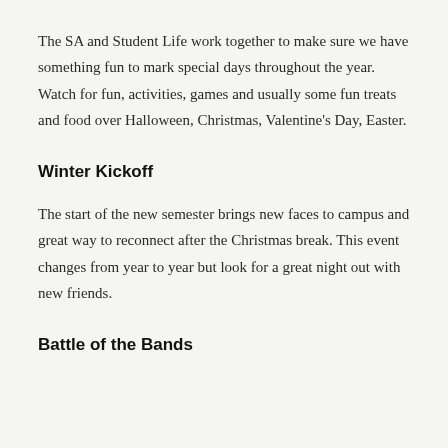The SA and Student Life work together to make sure we have something fun to mark special days throughout the year. Watch for fun, activities, games and usually some fun treats and food over Halloween, Christmas, Valentine's Day, Easter.
Winter Kickoff
The start of the new semester brings new faces to campus and great way to reconnect after the Christmas break. This event changes from year to year but look for a great night out with new friends.
Battle of the Bands